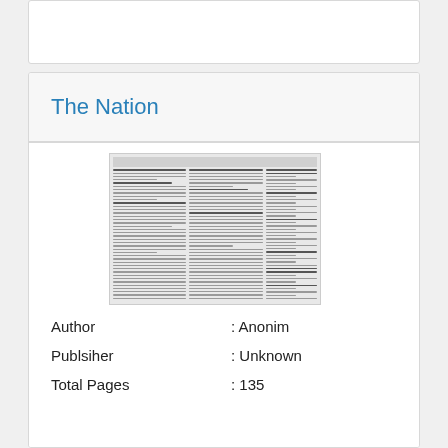The Nation
[Figure (photo): Thumbnail image of a newspaper page showing multiple columns of text]
Author : Anonim
Publsiher : Unknown
Total Pages : 135